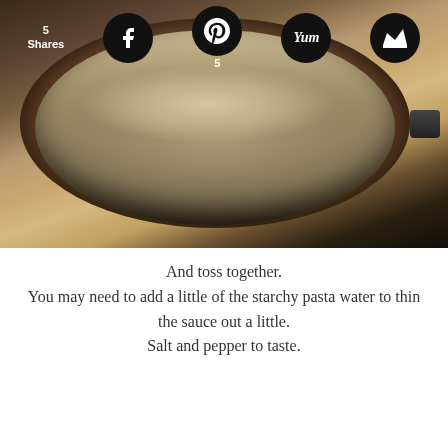[Figure (photo): Top-down view of pasta in a dark pot on a stove, with social share icons (Facebook, Pinterest with count 5, Yum, Crown) overlaid at the top. Share count shows 5 Shares.]
And toss together.
You may need to add a little of the starchy pasta water to thin
the sauce out a little.
Salt and pepper to taste.
[Figure (photo): Close-up photo of pasta dish served on a white plate with greens (likely spinach) and grated parmesan cheese, with a red napkin and fork visible in background. A 'BACK TO TOP' button is in the bottom right corner.]